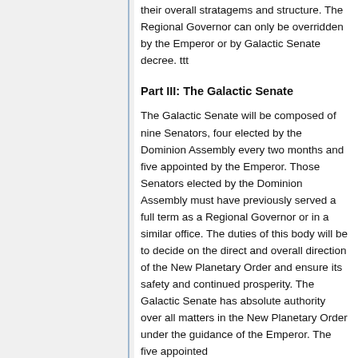their overall stratagems and structure. The Regional Governor can only be overridden by the Emperor or by Galactic Senate decree. ttt
Part III: The Galactic Senate
The Galactic Senate will be composed of nine Senators, four elected by the Dominion Assembly every two months and five appointed by the Emperor. Those Senators elected by the Dominion Assembly must have previously served a full term as a Regional Governor or in a similar office. The duties of this body will be to decide on the direct and overall direction of the New Planetary Order and ensure its safety and continued prosperity. The Galactic Senate has absolute authority over all matters in the New Planetary Order under the guidance of the Emperor. The five appointed